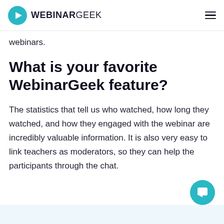WEBINARGEEK
webinars.
What is your favorite WebinarGeek feature?
The statistics that tell us who watched, how long they watched, and how they engaged with the webinar are incredibly valuable information. It is also very easy to link teachers as moderators, so they can help the participants through the chat.